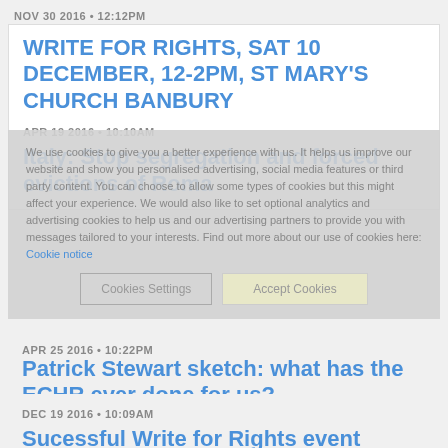NOV 30 2016 • 12:12PM
WRITE FOR RIGHTS, SAT 10 DECEMBER, 12-2PM, ST MARY'S CHURCH BANBURY
APR 19 2016 • 10:10AM
Italy: Stop segregation and forced evictions of Roma
APR 25 2016 • 10:22PM
Patrick Stewart sketch: what has the ECHR ever done for us?
DEC 19 2016 • 10:09AM
Sucessful Write for Rights event